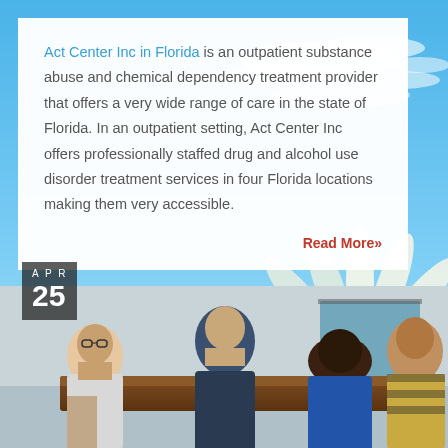[Figure (photo): Sky with white clouds and white and yellow flower/daisy in the right portion of the background]
Act Center Inc in Florida is an outpatient substance abuse and chemical dependency treatment provider that offers a very wide range of care in the state of Florida. In an outpatient setting, Act Center Inc offers professionally staffed drug and alcohol use disorder treatment services in four Florida locations making them very accessible.
Read More»
[Figure (photo): Group meeting photo showing four people sitting around a table in an office setting. A date badge in the top left reads APR 25.]